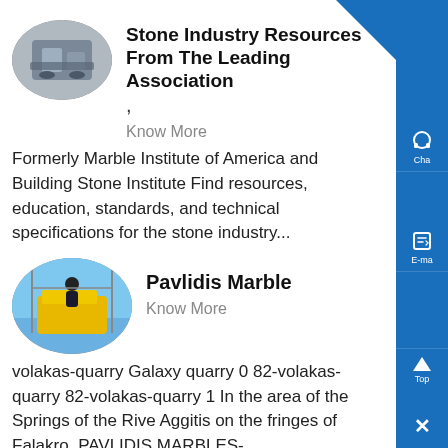[Figure (photo): Oval/elliptical thumbnail image of stone industry machinery or facility]
Stone Industry Resources From The Leading Association
,
Know More
Formerly Marble Institute of America and Building Stone Institute Find resources, education, standards, and technical specifications for the stone industry...
[Figure (photo): Oval thumbnail image of a person standing on construction/quarry equipment (yellow machinery, blue sky)]
Pavlidis Marble
Know More
volakas-quarry Galaxy quarry 0 82-volakas-quarry 82-volakas-quarry 1 In the area of the Springs of the Rive Aggitis on the fringes of Falakro, PAVLIDIS MARBLES-